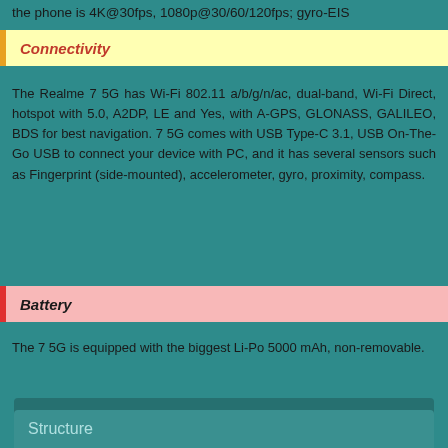the phone is 4K@30fps, 1080p@30/60/120fps; gyro-EIS
Connectivity
The Realme 7 5G has Wi-Fi 802.11 a/b/g/n/ac, dual-band, Wi-Fi Direct, hotspot with 5.0, A2DP, LE and Yes, with A-GPS, GLONASS, GALILEO, BDS for best navigation. 7 5G comes with USB Type-C 3.1, USB On-The-Go USB to connect your device with PC, and it has several sensors such as Fingerprint (side-mounted), accelerometer, gyro, proximity, compass.
Battery
The 7 5G is equipped with the biggest Li-Po 5000 mAh, non-removable.
Full Specifications of Realme 7 5G
Structure